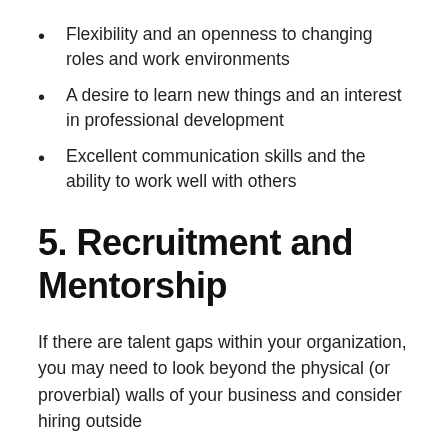Flexibility and an openness to changing roles and work environments
A desire to learn new things and an interest in professional development
Excellent communication skills and the ability to work well with others
5. Recruitment and Mentorship
If there are talent gaps within your organization, you may need to look beyond the physical (or proverbial) walls of your business and consider hiring outside